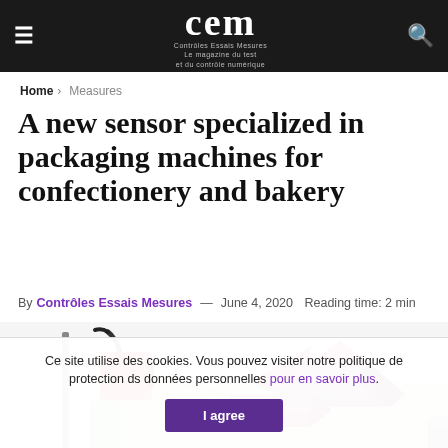≡  cem Contrôles Essais Mesures  🔍
Home › Measures
A new sensor specialized in packaging machines for confectionery and bakery
By Contrôles Essais Mesures — June 4, 2020 Reading time: 2 min
[Figure (illustration): Isometric illustration of a red sensor device mounted on a stand, scanning rectangular confectionery/bakery items on a green platform, with binary code visualization showing the scanning beam.]
Ce site utilise des cookies. Vous pouvez visiter notre politique de protection ds données personnelles pour en savoir plus. I agree